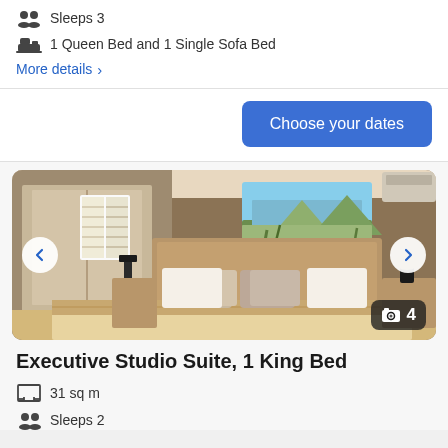Sleeps 3
1 Queen Bed and 1 Single Sofa Bed
More details >
Choose your dates
[Figure (photo): Hotel room with king bed, wooden headboard, beige/taupe bedding, landscape painting on brown wall, mirror and wardrobe in background. Navigation arrows on left and right. Photo count badge showing 4.]
Executive Studio Suite, 1 King Bed
31 sq m
Sleeps 2